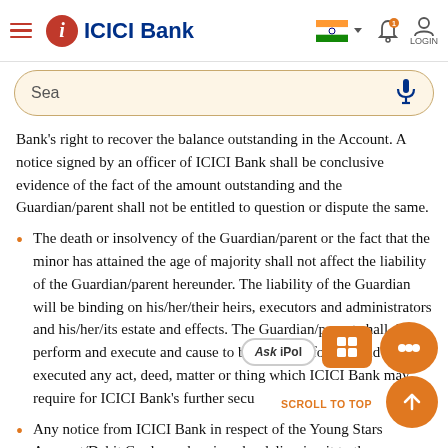ICICI Bank
Sea
Bank's right to recover the balance outstanding in the Account. A notice signed by an officer of ICICI Bank shall be conclusive evidence of the fact of the amount outstanding and the Guardian/parent shall not be entitled to question or dispute the same.
The death or insolvency of the Guardian/parent or the fact that the minor has attained the age of majority shall not affect the liability of the Guardian/parent hereunder. The liability of the Guardian will be binding on his/her/their heirs, executors and administrators and his/her/its estate and effects. The Guardian/parent shall do, perform and execute and cause to be done, performed and executed any act, deed, matter or thing which ICICI Bank may require for ICICI Bank's further secu
Any notice from ICICI Bank in respect of the Young Stars Account/Debit Card may be given by delivering it to the Guardian/parent pe it to the latest address recorded with ICICI Bank. The